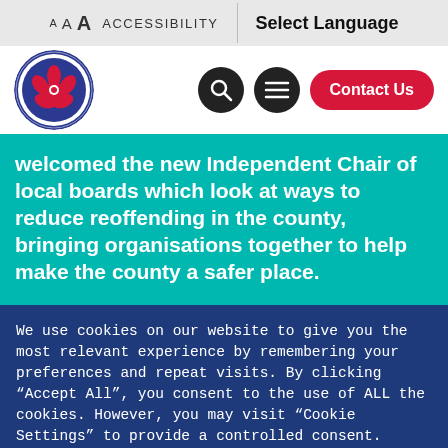A A A ACCESSIBILITY   Select Language
[Figure (logo): Andrew Snowden Lancashire Police and Crime Commissioner circular logo with red rose emblem]
welcomed the new Independent Chair of local boards which look at ways to reduce reoffending in the county, bringing organisations together to help make the county a safer place.
We use cookies on our website to give you the most relevant experience by remembering your preferences and repeat visits. By clicking "Accept All", you consent to the use of ALL the cookies. However, you may visit "Cookie Settings" to provide a controlled consent.
Cookie Settings   Accept All